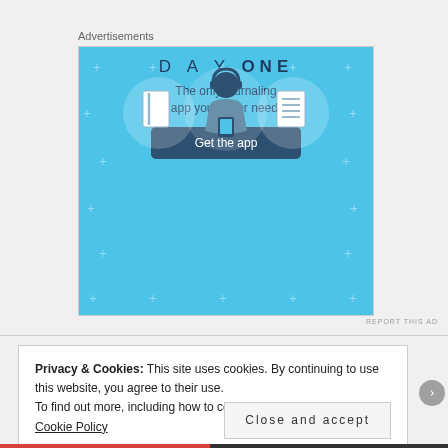Advertisements
[Figure (illustration): Day One journaling app advertisement on a blue background. Shows three circular icons: a notebook, a cartoon person with headphones holding a phone, and a lined document. Text reads 'DAY ONE' and 'The only journaling app you'll ever need.' with a 'Get the app' button.]
REPORT THIS AD
Privacy & Cookies: This site uses cookies. By continuing to use this website, you agree to their use.
To find out more, including how to control cookies, see here: Cookie Policy
Close and accept